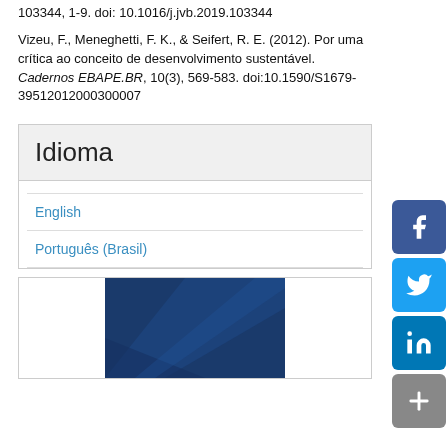103344, 1-9. doi: 10.1016/j.jvb.2019.103344
Vizeu, F., Meneghetti, F. K., & Seifert, R. E. (2012). Por uma crítica ao conceito de desenvolvimento sustentável. Cadernos EBAPE.BR, 10(3), 569-583. doi:10.1590/S1679-39512012000300007
Idioma
English
Português (Brasil)
[Figure (other): Book cover thumbnail with dark blue background and FGV EAESP logo]